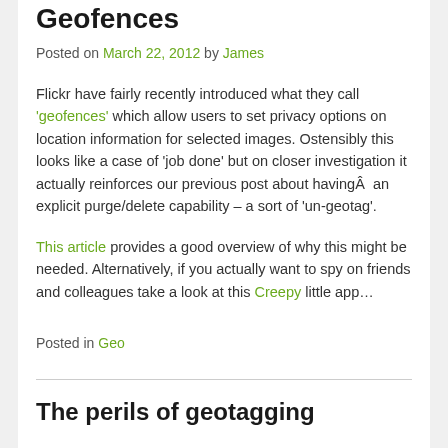Geofences
Posted on March 22, 2012 by James
Flickr have fairly recently introduced what they call 'geofences' which allow users to set privacy options on location information for selected images. Ostensibly this looks like a case of 'job done' but on closer investigation it actually reinforces our previous post about havingÂ  an explicit purge/delete capability – a sort of 'un-geotag'.
This article provides a good overview of why this might be needed. Alternatively, if you actually want to spy on friends and colleagues take a look at this Creepy little app…
Posted in Geo
The perils of geotagging